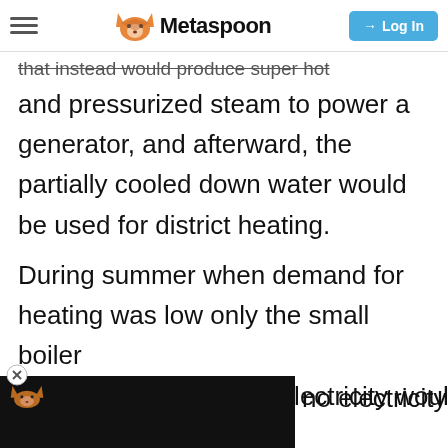Metaspoon | Log In
that instead would produce super hot and pressurized steam to power a generator, and afterward, the partially cooled down water would be used for district heating.
During summer when demand for heating was low only the small boiler would be used and no electricity would
[Figure (screenshot): Black overlay box with small fox logo icon and a close (X) button, partially covering the text]
nds of Jobs you